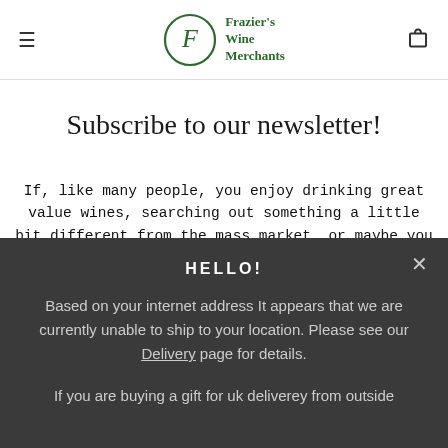Frazier's Wine Merchants
Subscribe to our newsletter!
If, like many people, you enjoy drinking great value wines, searching out something a little bit different from the mass market, or maybe you consider yourself to be a fine wine connoisseur, you'll want to receive all
HELLO!
Based on your internet address It appears that we are currently unable to ship to your location. Please see our Delivery page for details.
If you are buying a gift for uk deliverey from outside